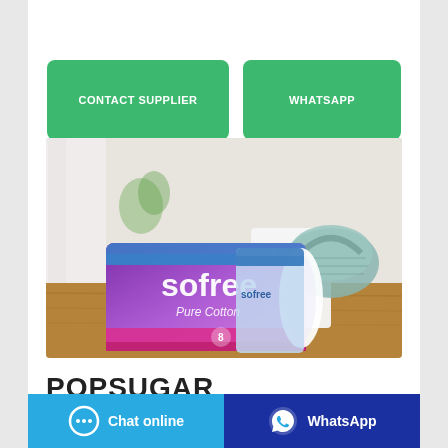[Figure (other): Two green rounded-rectangle buttons: 'CONTACT SUPPLIER' and 'WHATSAPP']
[Figure (photo): Product photo of Sofree Pure Cotton menstrual pads package (blue/pink packaging) placed on a wooden table with a basket and cloth in the background]
POPSUGAR
[Figure (other): Bottom bar with two buttons: blue 'Chat online' button with chat icon on the left, and dark blue 'WhatsApp' button with WhatsApp icon on the right]